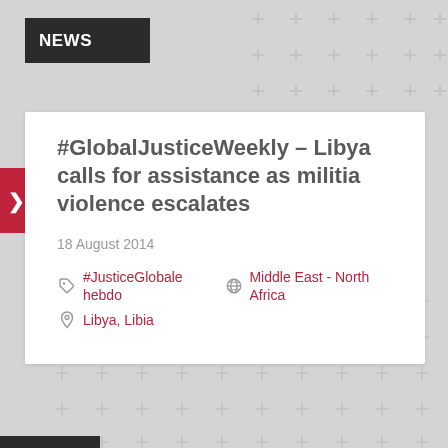NEWS
#GlobalJusticeWeekly – Libya calls for assistance as militia violence escalates
18 August 2014
#JusticeGlobale hebdo   Middle East - North Africa   Libya, Libia